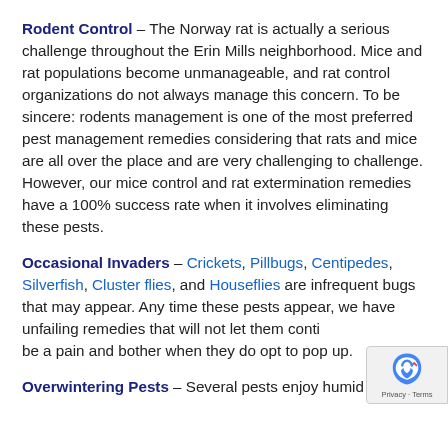Rodent Control – The Norway rat is actually a serious challenge throughout the Erin Mills neighborhood. Mice and rat populations become unmanageable, and rat control organizations do not always manage this concern. To be sincere: rodents management is one of the most preferred pest management remedies considering that rats and mice are all over the place and are very challenging to challenge. However, our mice control and rat extermination remedies have a 100% success rate when it involves eliminating these pests.
Occasional Invaders – Crickets, Pillbugs, Centipedes, Silverfish, Cluster flies, and Houseflies are infrequent bugs that may appear. Any time these pests appear, we have unfailing remedies that will not let them continue to be a pain and bother when they do opt to pop up.
Overwintering Pests – Several pests enjoy humid